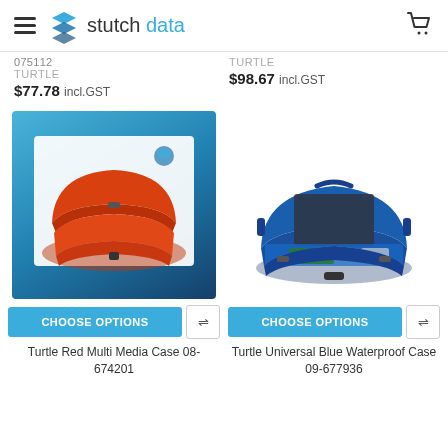stutch data
075112 TURTLE $77.78 incl.GST
TURTLE $98.67 incl.GST
[Figure (photo): Red multi-media case open, shown on blue gradient background]
[Figure (photo): Blue universal waterproof case open with electronics inside]
CHOOSE OPTIONS
CHOOSE OPTIONS
Turtle Red Multi Media Case 08-674201
Turtle Universal Blue Waterproof Case 09-677936